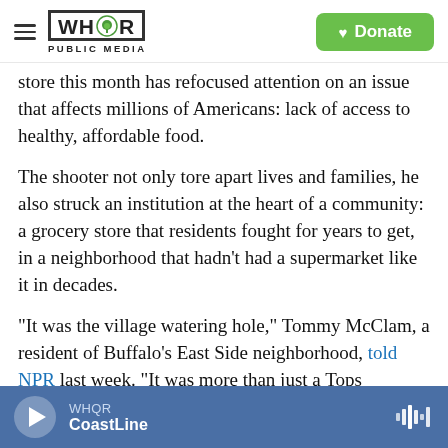WHQR PUBLIC MEDIA | Donate
store this month has refocused attention on an issue that affects millions of Americans: lack of access to healthy, affordable food.
The shooter not only tore apart lives and families, he also struck an institution at the heart of a community: a grocery store that residents fought for years to get, in a neighborhood that hadn't had a supermarket like it in decades.
"It was the village watering hole," Tommy McClam, a resident of Buffalo's East Side neighborhood, told NPR last week. "It was more than just a Tops
WHQR CoastLine